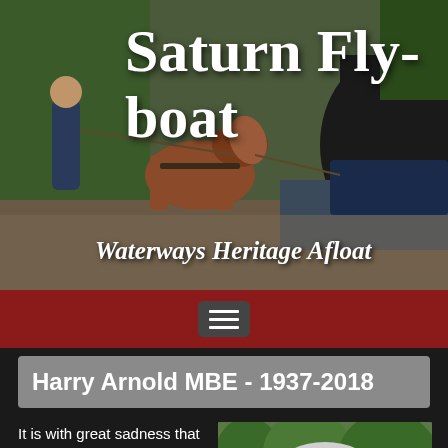[Figure (photo): Header photo showing a man leading a horse along a canal towpath with a narrow boat in the background, surrounded by trees and stone structures]
Saturn Fly-boat
Waterways Heritage Afloat
[Figure (other): Dark red navigation bar with hamburger menu button]
Harry Arnold MBE - 1937-2018
It is with great sadness that we have to inform you that our President, Harry Arnold, passed
[Figure (photo): Portrait photo of an elderly white-haired man outdoors with trees in background]